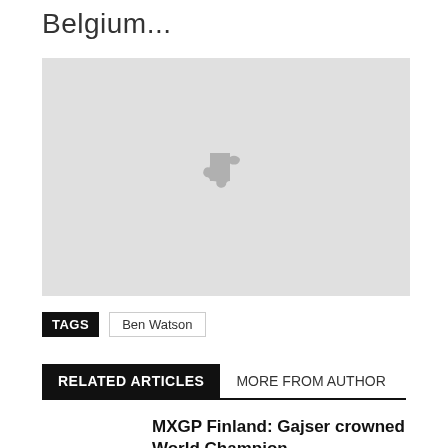Belgium...
[Figure (illustration): Light gray placeholder image with a gray puzzle piece icon in the center]
TAGS  Ben Watson
RELATED ARTICLES  MORE FROM AUTHOR
MXGP Finland: Gajser crowned World Champion